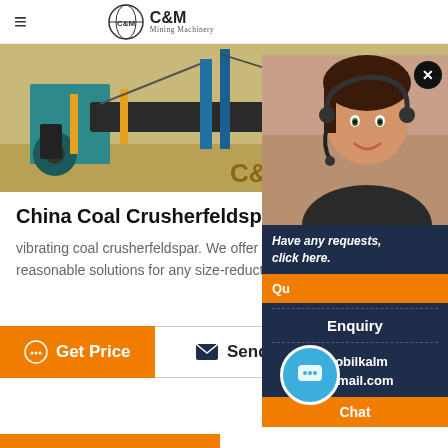C&M Mining Machinery
[Figure (photo): Mining machinery and equipment at a mining site with conveyor belts, yellow and teal machinery. Text overlay: C&M Mach]
China Coal Crusherfeldspar
vibrating coal crusherfeldspar. We offer ac reasonable solutions for any size-reductio
[Figure (screenshot): Chat popup panel with agent photo, close button, 'Have any requests, click here.' message, Quote button, Enquiry section, drobilkalm@gmail.com email, and Chat button at bottom]